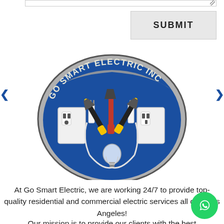[Figure (logo): Go Smart Electric Inc logo: blue oval with gray border, showing pliers, electrical outlets, plugs, and a light bulb, with text 'GO SMART ELECTRIC INC' arching across the top]
At Go Smart Electric, we are working 24/7 to provide top-quality residential and commercial electric services all over Los Angeles!
Our mission is to provide our clients with the best